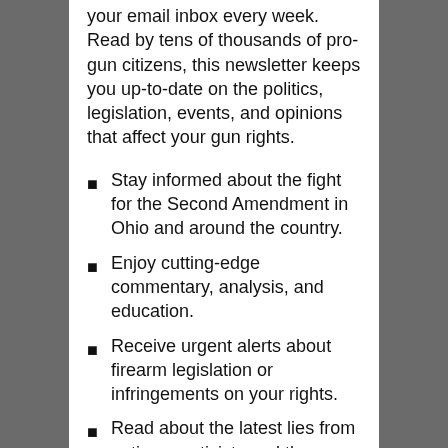your email inbox every week. Read by tens of thousands of pro-gun citizens, this newsletter keeps you up-to-date on the politics, legislation, events, and opinions that affect your gun rights.
Stay informed about the fight for the Second Amendment in Ohio and around the country.
Enjoy cutting-edge commentary, analysis, and education.
Receive urgent alerts about firearm legislation or infringements on your rights.
Read about the latest lies from anti-gun activists and the liberal media.
Be among the first to hear about gun giveaways, raffles, fundraisers, and